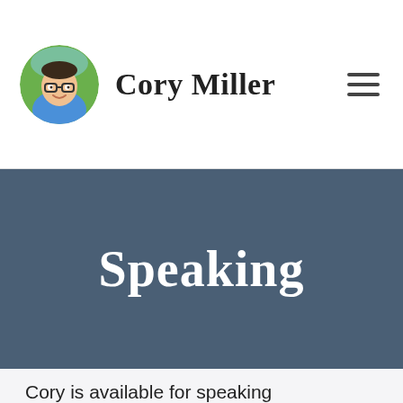Cory Miller
Speaking
Cory is available for speaking engagements at events, conferences and other in-person activities to talk on entrepreneurship, leading teams, building...